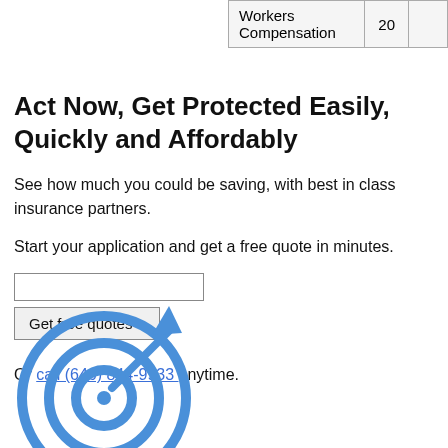|  |  |
| --- | --- |
| Workers Compensation | 20 |
Act Now, Get Protected Easily, Quickly and Affordably
See how much you could be saving, with best in class insurance partners.
Start your application and get a free quote in minutes.
Get free quotes »
Or call (646) 844-9933 anytime.
[Figure (illustration): Blue target/bullseye icon with an arrow hitting the center, representing getting on target with insurance.]